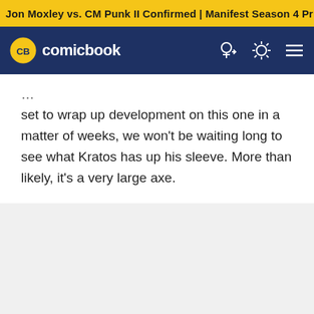Jon Moxley vs. CM Punk II Confirmed | Manifest Season 4 Pr
[Figure (logo): ComicBook.com logo with CB badge and navigation icons on dark navy bar]
set to wrap up development on this one in a matter of weeks, we won't be waiting long to see what Kratos has up his sleeve. More than likely, it's a very large axe.